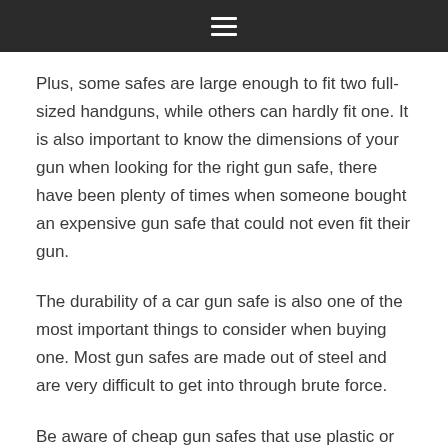≡
Plus, some safes are large enough to fit two full-sized handguns, while others can hardly fit one. It is also important to know the dimensions of your gun when looking for the right gun safe, there have been plenty of times when someone bought an expensive gun safe that could not even fit their gun.
The durability of a car gun safe is also one of the most important things to consider when buying one. Most gun safes are made out of steel and are very difficult to get into through brute force.
Be aware of cheap gun safes that use plastic or other, less sturdy materials. While the materials may hold up